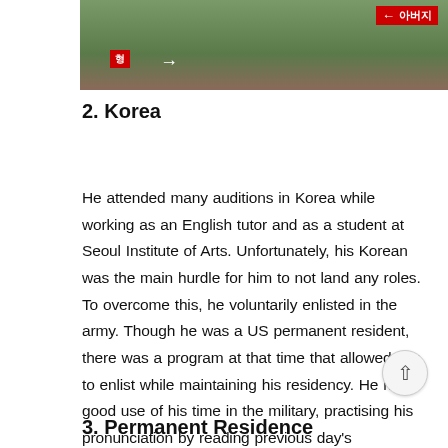[Figure (photo): A screenshot from a video showing people outdoors with Korean text labels and arrows. A red label on the right reads '아버지' with a left-pointing arrow. A red label on the left reads '형' with a right-pointing white arrow.]
2. Korea
He attended many auditions in Korea while working as an English tutor and as a student at Seoul Institute of Arts. Unfortunately, his Korean was the main hurdle for him to not land any roles. To overcome this, he voluntarily enlisted in the army. Though he was a US permanent resident, there was a program at that time that allowed him to enlist while maintaining his residency. He made good use of his time in the military, practising his pronunciation by reading previous day's newspapers and scripts, worked out and also learned about Korean culture.
3. Permanent Residence